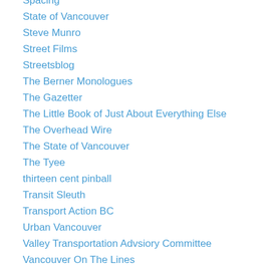Spacing
State of Vancouver
Steve Munro
Street Films
Streetsblog
The Berner Monologues
The Gazetter
The Little Book of Just About Everything Else
The Overhead Wire
The State of Vancouver
The Tyee
thirteen cent pinball
Transit Sleuth
Transport Action BC
Urban Vancouver
Valley Transportation Advsiory Committee
Vancouver On The Lines
Voony's blog
Westminster Wisdom
William B...